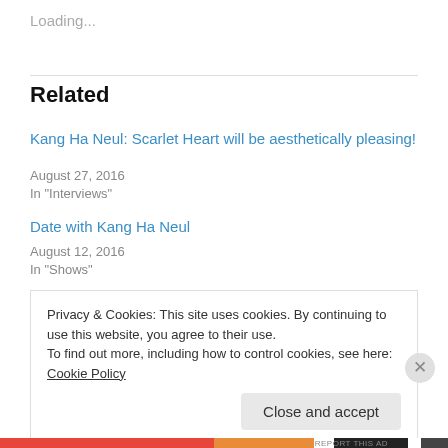Loading...
Related
Kang Ha Neul: Scarlet Heart will be aesthetically pleasing!
August 27, 2016
In "Interviews"
Date with Kang Ha Neul
August 12, 2016
In "Shows"
Privacy & Cookies: This site uses cookies. By continuing to use this website, you agree to their use.
To find out more, including how to control cookies, see here: Cookie Policy
Close and accept